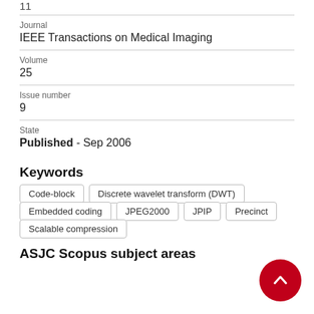11
Journal
IEEE Transactions on Medical Imaging
Volume
25
Issue number
9
State
Published - Sep 2006
Keywords
Code-block
Discrete wavelet transform (DWT)
Embedded coding
JPEG2000
JPIP
Precinct
Scalable compression
ASJC Scopus subject areas